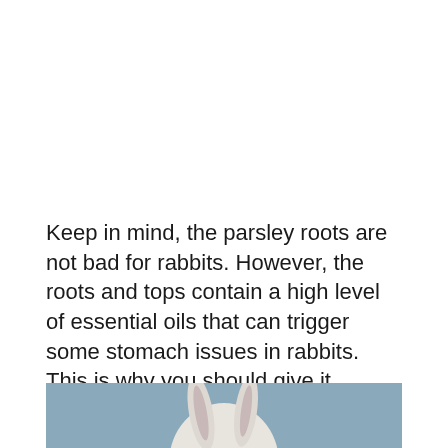Keep in mind, the parsley roots are not bad for rabbits. However, the roots and tops contain a high level of essential oils that can trigger some stomach issues in rabbits. This is why you should give it sparingly!
[Figure (photo): Partial photo of a rabbit against a blue/grey background, cropped at the bottom of the page]